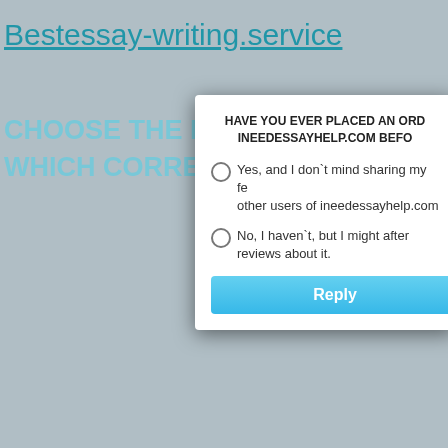Bestessay-writing.service
CHOOSE THE BEST
WHICH CORRESPO
| Rank | Name |
| --- | --- |
| 1 | Classyessaywriter.com |
| 2 | 24houressays.com |
| 3 | Shinyessays.com |
| 4 | Bestessaywriting.com |
| 5 | papersmart.net |
[Figure (screenshot): Modal dialog with question: HAVE YOU EVER PLACED AN ORDER AT INEEDESSAYHELP.COM BEFORE? Two radio options: 'Yes, and I don't mind sharing my feedback with other users of ineedessayhelp.com' and 'No, I haven't, but I might after reading reviews about it.' with a Reply button.]